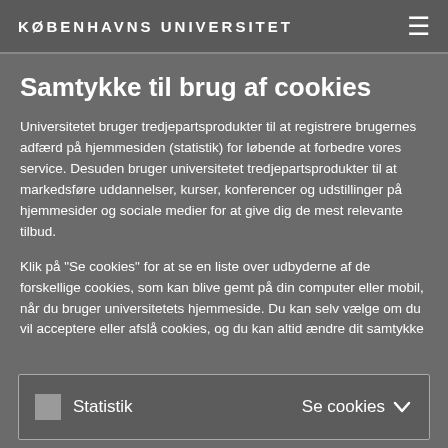KØBENHAVNS UNIVERSITET
Samtykke til brug af cookies
Universitetet bruger tredjepartsprodukter til at registrere brugernes adfærd på hjemmesiden (statistik) for løbende at forbedre vores service. Desuden bruger universitetet tredjepartsprodukter til at markedsføre uddannelser, kurser, konferencer og udstillinger på hjemmesider og sociale medier for at give dig de mest relevante tilbud.
Klik på "Se cookies" for at se en liste over udbyderne af de forskellige cookies, som kan blive gemt på din computer eller mobil, når du bruger universitetets hjemmeside. Du kan selv vælge om du vil acceptere eller afslå cookies, og du kan altid ændre dit samtykke siden.
Statistik   Se cookies